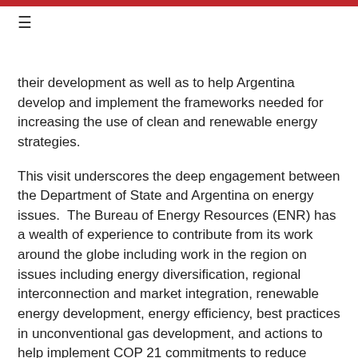≡
their development as well as to help Argentina develop and implement the frameworks needed for increasing the use of clean and renewable energy strategies.
This visit underscores the deep engagement between the Department of State and Argentina on energy issues. The Bureau of Energy Resources (ENR) has a wealth of experience to contribute from its work around the globe including work in the region on issues including energy diversification, regional interconnection and market integration, renewable energy development, energy efficiency, best practices in unconventional gas development, and actions to help implement COP 21 commitments to reduce energy sector emissions.
For further information, please contact Alexandra Z. Tenny